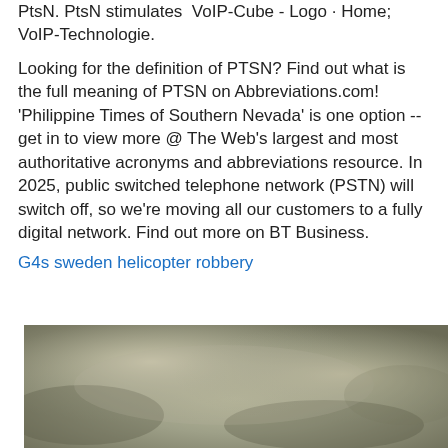PtsN. PtsN stimulates VoIP-Cube - Logo · Home; VoIP-Technologie.
Looking for the definition of PTSN? Find out what is the full meaning of PTSN on Abbreviations.com! 'Philippine Times of Southern Nevada' is one option -- get in to view more @ The Web's largest and most authoritative acronyms and abbreviations resource. In 2025, public switched telephone network (PSTN) will switch off, so we're moving all our customers to a fully digital network. Find out more on BT Business.
G4s sweden helicopter robbery
[Figure (photo): A murky, foggy outdoor scene with muted greenish-gray tones, partially cropped at the bottom of the page.]